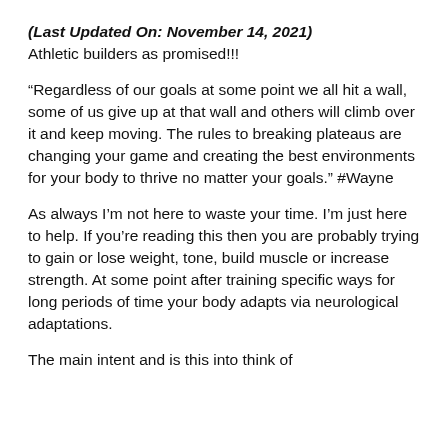(Last Updated On: November 14, 2021)
Athletic builders as promised!!!
“Regardless of our goals at some point we all hit a wall, some of us give up at that wall and others will climb over it and keep moving. The rules to breaking plateaus are changing your game and creating the best environments for your body to thrive no matter your goals.” #Wayne
As always I’m not here to waste your time. I’m just here to help. If you’re reading this then you are probably trying to gain or lose weight, tone, build muscle or increase strength. At some point after training specific ways for long periods of time your body adapts via neurological adaptations.
The main intent and is this into think of...